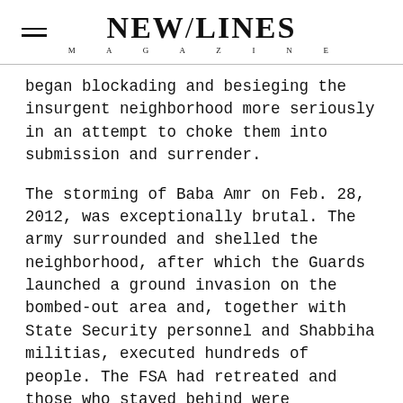NEW/LINES MAGAZINE
began blockading and besieging the insurgent neighborhood more seriously in an attempt to choke them into submission and surrender.
The storming of Baba Amr on Feb. 28, 2012, was exceptionally brutal. The army surrounded and shelled the neighborhood, after which the Guards launched a ground invasion on the bombed-out area and, together with State Security personnel and Shabbiha militias, executed hundreds of people. The FSA had retreated and those who stayed behind were civilians who were either unable or unwilling to leave. Videos of the immediate aftermath of the massacre show civilians executed against walls and on sidewalks with